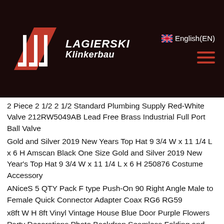LAGIERSKI Klinkerbau | English(EN)
2 Piece 2 1/2 2 1/2 Standard Plumbing Supply Red-White Valve 212RW5049AB Lead Free Brass Industrial Full Port Ball Valve
Gold and Silver 2019 New Years Top Hat 9 3/4 W x 11 1/4 L x 6 H Amscan Black One Size Gold and Silver 2019 New Year's Top Hat 9 3/4 W x 11 1/4 L x 6 H 250876 Costume Accessory
ANiceS 5 QTY Pack F type Push-On 90 Right Angle Male to Female Quick Connector Adapter Coax RG6 RG59
x8ft W H 8ft Vinyl Vintage House Blue Door Purple Flowers Party Decorations Photo Backdrop Seamless Folding and Washable No Creases Photography Studio Background
11 Inch Portable Business Laptop Storage Bag Light Grey Wendry Envelope Computer Bag Protective Bag with Pocket for Laptop Notebook Computer fi...